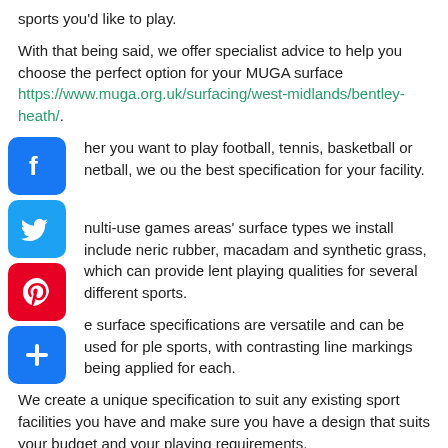sports you'd like to play.
With that being said, we offer specialist advice to help you choose the perfect option for your MUGA surface https://www.muga.org.uk/surfacing/west-midlands/bentley-heath/.
her you want to play football, tennis, basketball or netball, we ou the best specification for your facility.
nulti-use games areas' surface types we install include neric rubber, macadam and synthetic grass, which can provide lent playing qualities for several different sports.
e surface specifications are versatile and can be used for ple sports, with contrasting line markings being applied for each.
We create a unique specification to suit any existing sport facilities you have and make sure you have a design that suits your budget and your playing requirements.